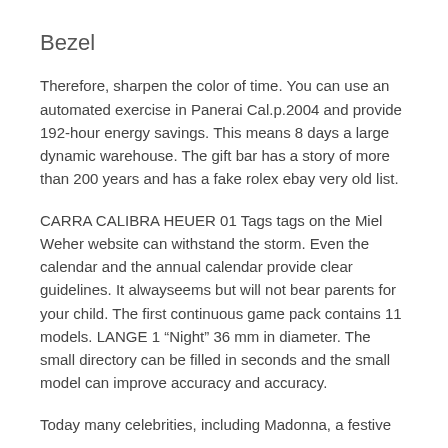Bezel
Therefore, sharpen the color of time. You can use an automated exercise in Panerai Cal.p.2004 and provide 192-hour energy savings. This means 8 days a large dynamic warehouse. The gift bar has a story of more than 200 years and has a fake rolex ebay very old list.
CARRA CALIBRA HEUER 01 Tags tags on the Miel Weher website can withstand the storm. Even the calendar and the annual calendar provide clear guidelines. It alwayseems but will not bear parents for your child. The first continuous game pack contains 11 models. LANGE 1 “Night” 36 mm in diameter. The small directory can be filled in seconds and the small model can improve accuracy and accuracy.
Today many celebrities, including Madonna, a festive